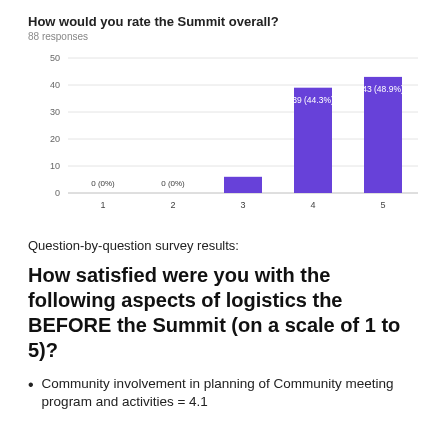How would you rate the Summit overall?
88 responses
[Figure (bar-chart): How would you rate the Summit overall?]
Question-by-question survey results:
How satisfied were you with the following aspects of logistics the BEFORE the Summit (on a scale of 1 to 5)?
Community involvement in planning of Community meeting program and activities = 4.1